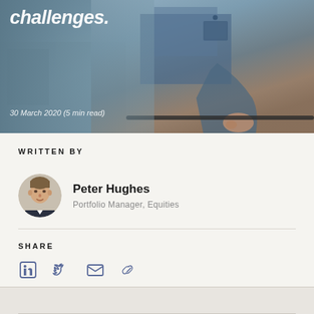[Figure (photo): Hero image of a person in a denim jacket leaning on a railing, with partial italic bold heading text visible at top reading 'challenges.' and date caption '30 March 2020 (5 min read)']
WRITTEN BY
[Figure (photo): Circular headshot portrait of Peter Hughes]
Peter Hughes
Portfolio Manager, Equities
SHARE
[Figure (infographic): Social share icons: LinkedIn, Twitter, Email, Link]